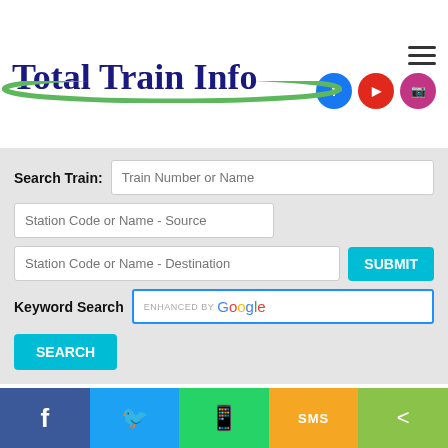Total Train Info
Search Train: Train Number or Name | Station Code or Name - Source | Station Code or Name - Destination | SUBMIT | Keyword Search enhanced by Google | SEARCH
13167 / Kolkata - Agra Cantt. Weekly Express
Facebook | Twitter | WhatsApp | SMS | Share